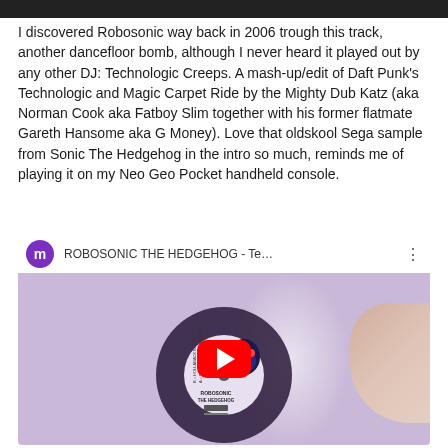[Figure (screenshot): Dark cropped image strip at the top of the page]
I discovered Robosonic way back in 2006 trough this track, another dancefloor bomb, although I never heard it played out by any other DJ: Technologic Creeps. A mash-up/edit of Daft Punk's Technologic and Magic Carpet Ride by the Mighty Dub Katz (aka Norman Cook aka Fatboy Slim together with his former flatmate Gareth Hansome aka G Money). Love that oldskool Sega sample from Sonic The Hedgehog in the intro so much, reminds me of playing it on my Neo Geo Pocket handheld console.
[Figure (screenshot): YouTube video embed showing 'ROBOSONIC THE HEDGEHOG - Te...' with a purple user avatar labeled 'm', a YouTube play button, and a vinyl record with Sonic the Hedgehog artwork in the thumbnail]